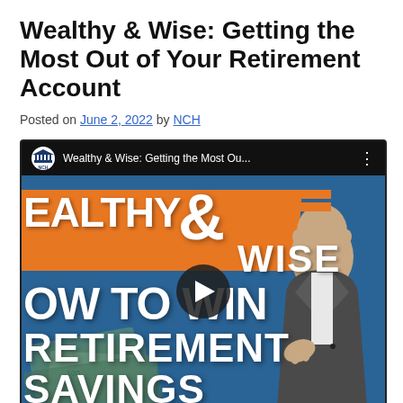Wealthy & Wise: Getting the Most Out of Your Retirement Account
Posted on June 2, 2022 by NCH
[Figure (screenshot): YouTube video thumbnail for 'Wealthy & Wise: Getting the Most Ou...' showing the NCH logo, orange and blue branding with text 'EALTHY & WISE', 'OW TO WIN', 'RETIREMENT', 'SAVINGS' and a man in a suit on the right side, with a play button in the center.]